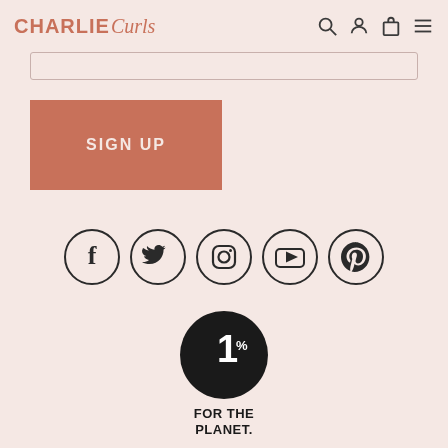CHARLIE Curls
[Figure (logo): Charlie Curls brand logo with CHARLIE in bold uppercase and Curls in italic script, terracotta/salmon color]
[Figure (infographic): Sign Up button - terracotta/salmon colored rectangle with white uppercase text SIGN UP]
[Figure (infographic): Social media icons row: Facebook, Twitter, Instagram, YouTube, Pinterest - all in circle outlines with dark icons on light pink background]
[Figure (logo): 1% for the Planet logo - black circle with white 1% text, below reads FOR THE PLANET in bold black uppercase]